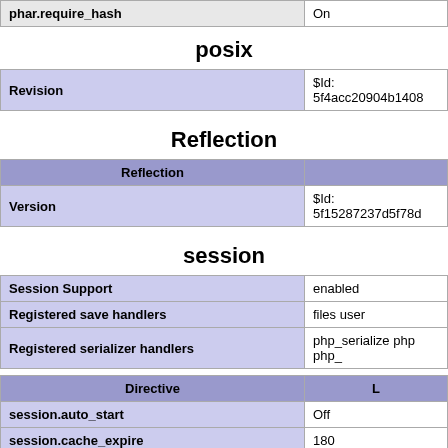| phar.require_hash | On |
| --- | --- |
posix
| Revision | $Id: 5f4acc20904b1408... |
| --- | --- |
Reflection
| Reflection |  |
| --- | --- |
| Version | $Id: 5f15287237d5f78d... |
session
| Session Support | enabled |
| Registered save handlers | files user |
| Registered serializer handlers | php_serialize php php_... |
| Directive | L |
| --- | --- |
| session.auto_start | Off |
| session.cache_expire | 180 |
| session.cache_limiter | nocache |
| session.cookie_domain |  |